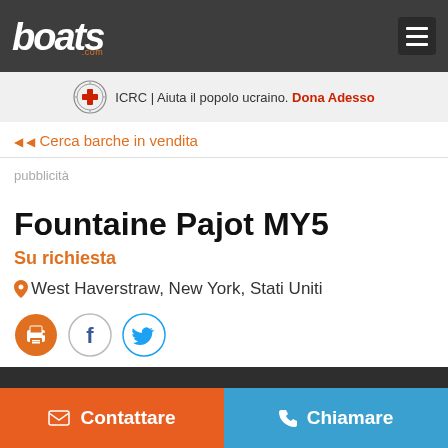boats.com
ICRC | Aiuta il popolo ucraino. Dona Adesso
◀ Cerca barche in vendita
pubblicità
Fountaine Pajot MY5
Su richiesta   West Haverstraw, New York, Stati Uniti
Contattare   Chiamare